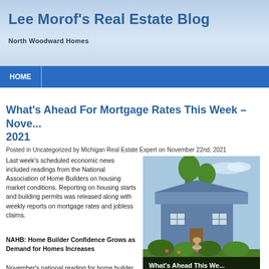Lee Morof's Real Estate Blog
North Woodward Homes
What's Ahead For Mortgage Rates This Week – November 2021
Posted in Uncategorized by Michigan Real Estate Expert on November 22nd, 2021
Last week's scheduled economic news included readings from the National Association of Home Builders on housing market conditions. Reporting on housing starts and building permits was released along with weekly reports on mortgage rates and jobless claims.
[Figure (photo): House exterior with landscaped garden. Banner reads 'What's Ahead This We...']
NAHB: Home Builder Confidence Grows as Demand for Homes Increases
November's national reading for home builder confidence in housing market conditions for single-family homes rose three points to an index reading of 83 a reading of 80. Component readings for the national index were mixed. Builder confidence home sales for the next six months was unchanged at an index reading of 84. B in potential buyer traffic in new housing developments rose three points to...